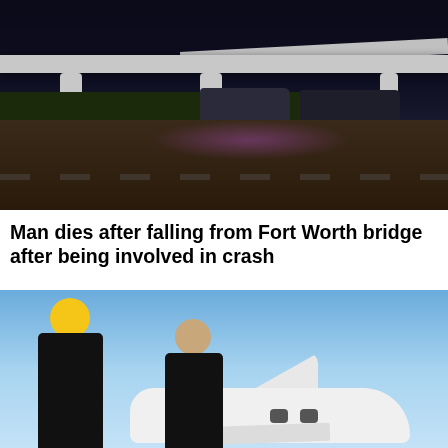[Figure (photo): Night scene under a highway overpass with police cars and flashing lights on a dark road]
Man dies after falling from Fort Worth bridge after being involved in crash
[Figure (photo): A blonde woman and a dark-haired man in sunglasses and dark clothing posing in front of a white private jet on a sunny day]